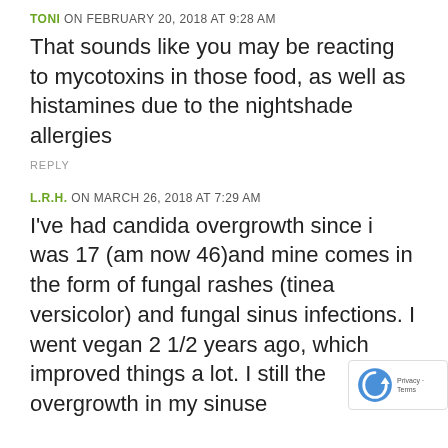TONI ON FEBRUARY 20, 2018 AT 9:28 AM
That sounds like you may be reacting to mycotoxins in those food, as well as histamines due to the nightshade allergies
REPLY
L.R.H. ON MARCH 26, 2018 AT 7:29 AM
I've had candida overgrowth since i was 17 (am now 46)and mine comes in the form of fungal rashes (tinea versicolor) and fungal sinus infections. I went vegan 2 1/2 years ago, which improved things a lot. I still the overgrowth in my sinuse